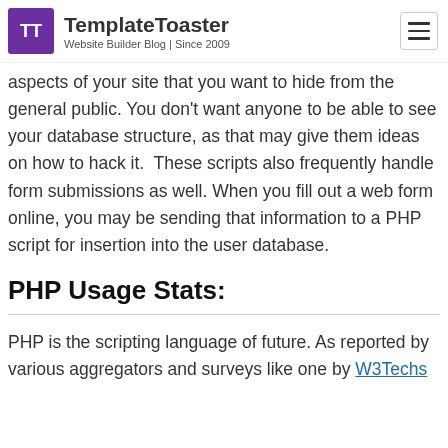TemplateToaster — Website Builder Blog | Since 2009
aspects of your site that you want to hide from the general public. You don't want anyone to be able to see your database structure, as that may give them ideas on how to hack it. These scripts also frequently handle form submissions as well. When you fill out a web form online, you may be sending that information to a PHP script for insertion into the user database.
PHP Usage Stats:
PHP is the scripting language of future. As reported by various aggregators and surveys like one by W3Techs